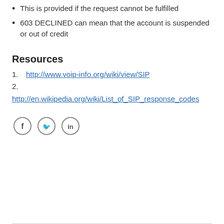This is provided if the request cannot be fulfilled
603 DECLINED can mean that the account is suspended or out of credit
Resources
1. http://www.voip-info.org/wiki/view/SIP
2. http://en.wikipedia.org/wiki/List_of_SIP_response_codes
[Figure (other): Social media icons: Facebook (f), Twitter (bird), LinkedIn (in)]